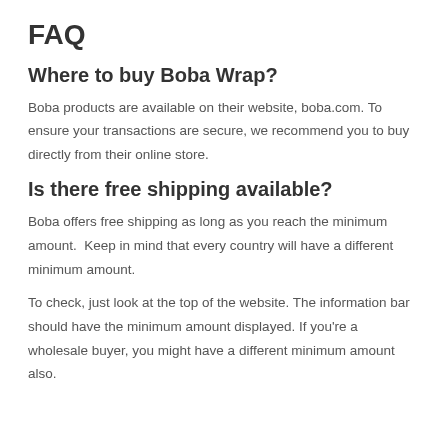FAQ
Where to buy Boba Wrap?
Boba products are available on their website, boba.com. To ensure your transactions are secure, we recommend you to buy directly from their online store.
Is there free shipping available?
Boba offers free shipping as long as you reach the minimum amount.  Keep in mind that every country will have a different minimum amount.
To check, just look at the top of the website. The information bar should have the minimum amount displayed. If you're a wholesale buyer, you might have a different minimum amount also.